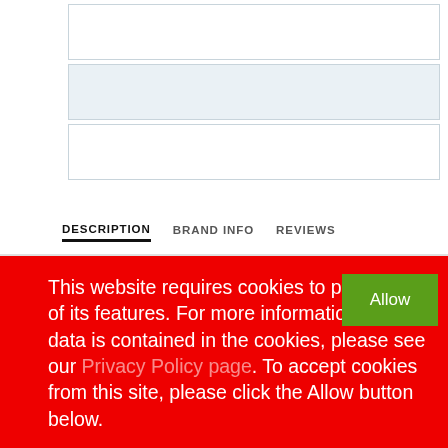[Figure (screenshot): Three table rows with alternating white and light blue backgrounds, partially visible, appearing to be a product listing or data table.]
DESCRIPTION   BRAND INFO   REVIEWS
This website requires cookies to provide all of its features. For more information on what data is contained in the cookies, please see our Privacy Policy page. To accept cookies from this site, please click the Allow button below.